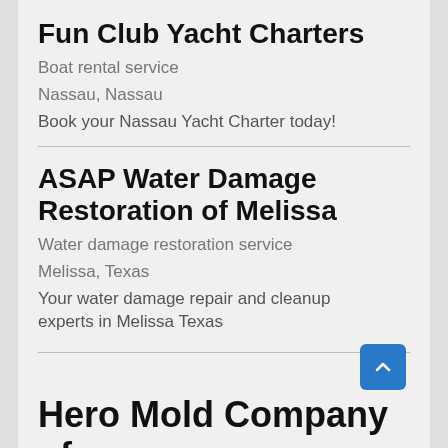Fun Club Yacht Charters
Boat rental service
Nassau, Nassau
Book your Nassau Yacht Charter today!
ASAP Water Damage Restoration of Melissa
Water damage restoration service
Melissa, Texas
Your water damage repair and cleanup experts in Melissa Texas
Hero Mold Company of